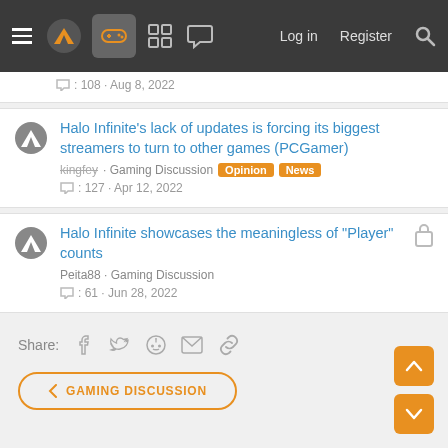Navigation bar with logo, gaming icon, board icon, chat icon, Log in, Register, Search
108 · Aug 8, 2022
Halo Infinite's lack of updates is forcing its biggest streamers to turn to other games (PCGamer)
kingfey · Gaming Discussion [Opinion] [News]
127 · Apr 12, 2022
Halo Infinite showcases the meaningless of "Player" counts
Peita88 · Gaming Discussion
61 · Jun 28, 2022
Share: [facebook] [twitter] [reddit] [email] [link]
< GAMING DISCUSSION